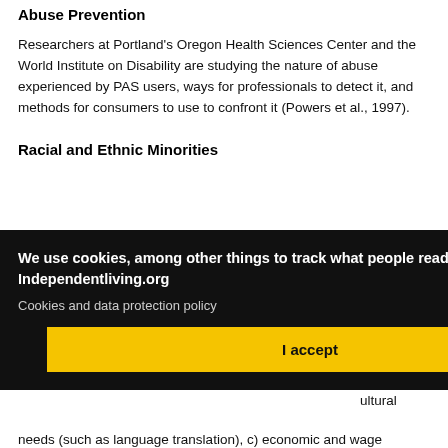Abuse Prevention
Researchers at Portland's Oregon Health Sciences Center and the World Institute on Disability are studying the nature of abuse experienced by PAS users, ways for professionals to detect it, and methods for consumers to use to confront it (Powers et al., 1997).
Racial and Ethnic Minorities
...service ...rm ...a first ...al. and ...o ...g: a) ...ultural needs (such as language translation), c) economic and wage
[Figure (other): Cookie consent overlay with black background. Text reads: 'We use cookies, among other things to track what people read on Independentliving.org' and 'Cookies and data protection policy'. A yellow 'I accept' button is shown.]